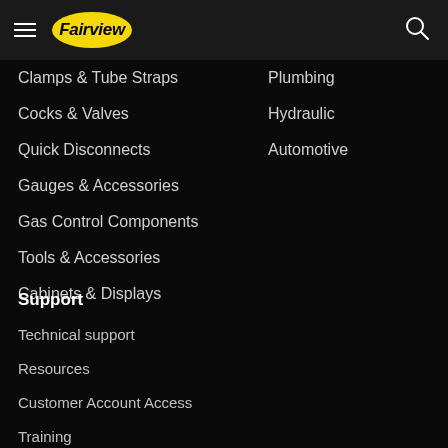Fairview
Clamps & Tube Straps
Cocks & Valves
Quick Disconnects
Gauges & Accessories
Gas Control Components
Tools & Accessories
Cabinets & Displays
Plumbing
Hydraulic
Automotive
Support
Technical support
Resources
Customer Account Access
Training
View catalog online
Privacy and legal